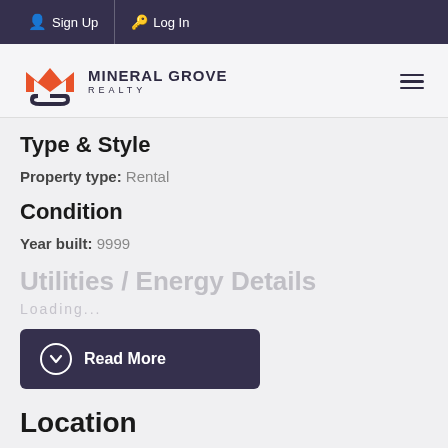Sign Up   Log In
[Figure (logo): Mineral Grove Realty logo with orange and dark blue M-G shield icon and text MINERAL GROVE REALTY]
Type & Style
Property type:  Rental
Condition
Year built:  9999
Utilities / Energy Details
Loading...
Read More
Location